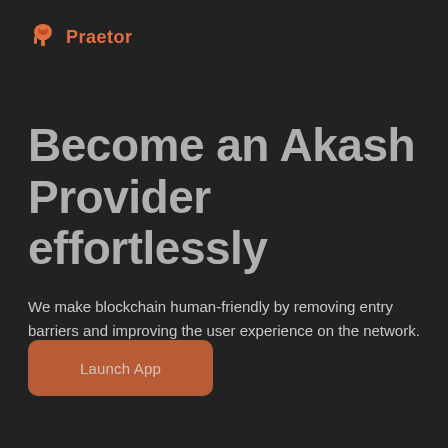[Figure (logo): Praetor logo: orange spartan helmet icon followed by the text 'Praetor' in orange]
Become an Akash Provider effortlessly
We make blockchain human-friendly by removing entry barriers and improving the user experience on the network.
Launch App